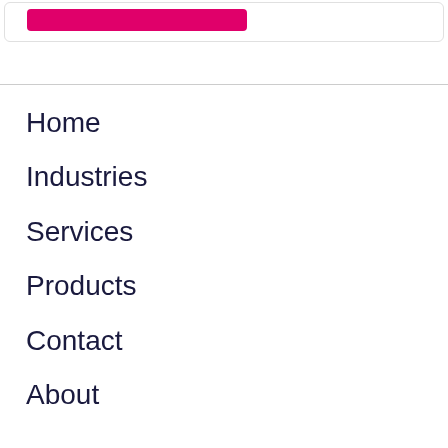[Figure (screenshot): Pink/magenta button inside a card with border at the top of the page]
Home
Industries
Services
Products
Contact
About